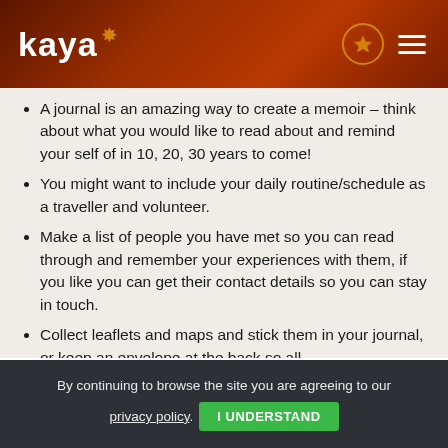kaya
A journal is an amazing way to create a memoir – think about what you would like to read about and remind your self of in 10, 20, 30 years to come!
You might want to include your daily routine/schedule as a traveller and volunteer.
Make a list of people you have met so you can read through and remember your experiences with them, if you like you can get their contact details so you can stay in touch.
Collect leaflets and maps and stick them in your journal, or keep an envelope at the back so all
By continuing to browse the site you are agreeing to our privacy policy. I UNDERSTAND